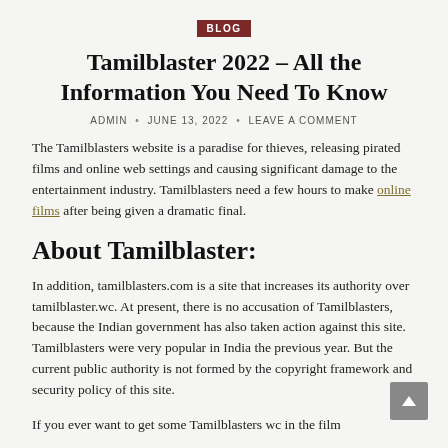BLOG
Tamilblaster 2022 – All the Information You Need To Know
ADMIN • JUNE 13, 2022 • LEAVE A COMMENT
The Tamilblasters website is a paradise for thieves, releasing pirated films and online web settings and causing significant damage to the entertainment industry. Tamilblasters need a few hours to make online films after being given a dramatic final.
About Tamilblaster:
In addition, tamilblasters.com is a site that increases its authority over tamilblaster.wc. At present, there is no accusation of Tamilblasters, because the Indian government has also taken action against this site. Tamilblasters were very popular in India the previous year. But the current public authority is not formed by the copyright framework and security policy of this site.
If you ever want to get some Tamilblasters wc in the film